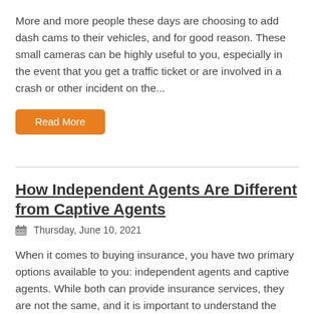More and more people these days are choosing to add dash cams to their vehicles, and for good reason. These small cameras can be highly useful to you, especially in the event that you get a traffic ticket or are involved in a crash or other incident on the...
Read More
How Independent Agents Are Different from Captive Agents
Thursday, June 10, 2021
When it comes to buying insurance, you have two primary options available to you: independent agents and captive agents. While both can provide insurance services, they are not the same, and it is important to understand the differences. Captive Insurance Agents A captive agent